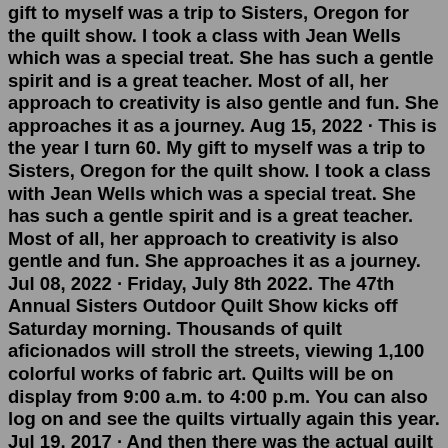gift to myself was a trip to Sisters, Oregon for the quilt show. I took a class with Jean Wells which was a special treat. She has such a gentle spirit and is a great teacher. Most of all, her approach to creativity is also gentle and fun. She approaches it as a journey. Aug 15, 2022 · This is the year I turn 60. My gift to myself was a trip to Sisters, Oregon for the quilt show. I took a class with Jean Wells which was a special treat. She has such a gentle spirit and is a great teacher. Most of all, her approach to creativity is also gentle and fun. She approaches it as a journey. Jul 08, 2022 · Friday, July 8th 2022. The 47th Annual Sisters Outdoor Quilt Show kicks off Saturday morning. Thousands of quilt aficionados will stroll the streets, viewing 1,100 colorful works of fabric art. Quilts will be on display from 9:00 a.m. to 4:00 p.m. You can also log on and see the quilts virtually again this year. Jul 19, 2017 · And then there was the actual quilt show. We got there early. Well my friend Janice got there at 6 am because she wanted to see the show go up. Then she called the house at 8 am and said get here now ·